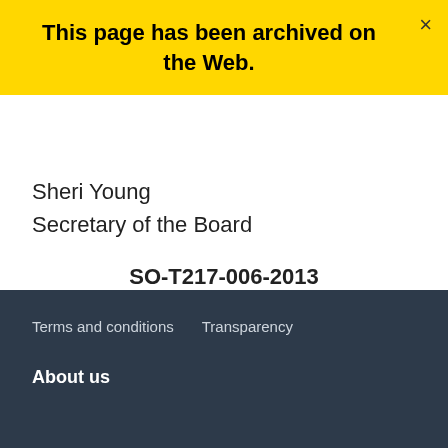This page has been archived on the Web.
Sheri Young
Secretary of the Board
SO-T217-006-2013
Date modified: 2020-09-29
Terms and conditions   Transparency
About us